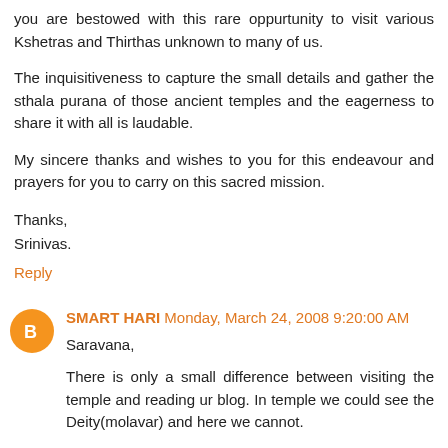you are bestowed with this rare oppurtunity to visit various Kshetras and Thirthas unknown to many of us.
The inquisitiveness to capture the small details and gather the sthala purana of those ancient temples and the eagerness to share it with all is laudable.
My sincere thanks and wishes to you for this endeavour and prayers for you to carry on this sacred mission.
Thanks,
Srinivas.
Reply
SMART HARI Monday, March 24, 2008 9:20:00 AM
Saravana,
There is only a small difference between visiting the temple and reading ur blog. In temple we could see the Deity(molavar) and here we cannot.